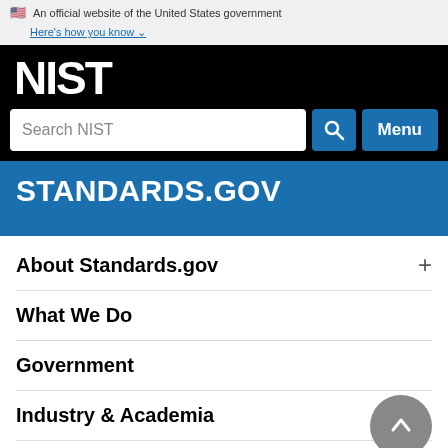An official website of the United States government
Here's how you know
[Figure (logo): NIST logo in white text on black background]
Search NIST
STANDARDS.GOV
About Standards.gov
What We Do
Government
Industry & Academia
Public
Resources